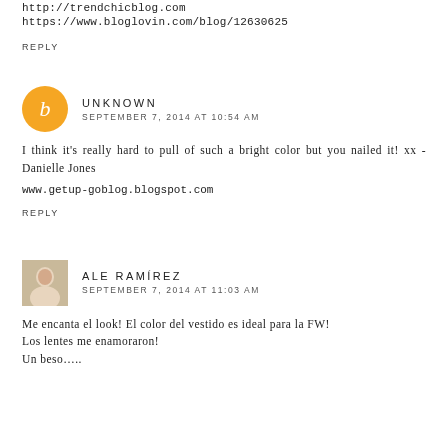https://www.bloglovin.com/blog/12630625
REPLY
UNKNOWN
SEPTEMBER 7, 2014 AT 10:54 AM
I think it's really hard to pull of such a bright color but you nailed it! xx - Danielle Jones
www.getup-goblog.blogspot.com
REPLY
ALE RAMÍREZ
SEPTEMBER 7, 2014 AT 11:03 AM
Me encanta el look! El color del vestido es ideal para la FW!
Los lentes me enamoraron!
Un beso…..